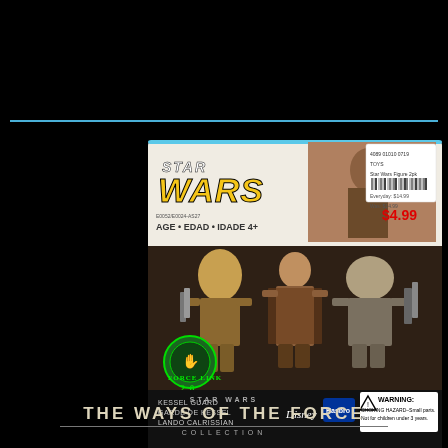[Figure (photo): Star Wars Force Link 2.0 toy set featuring Kessel Guard and Lando Calrissian action figures in packaging. Package shows Star Wars logo in yellow/gold, age rating 4+, Force Link 2.0 badge, Disney and Hasbro branding, warning label, and $4.99 price sticker. Bottom shows 'The Ways of the Force Collection' branding.]